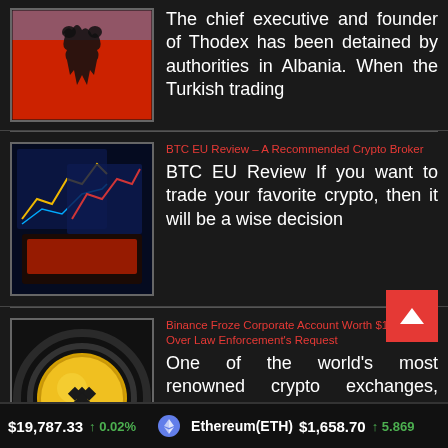The chief executive and founder of Thodex has been detained by authorities in Albania. When the Turkish trading
[Figure (photo): Albanian flag waving against blue sky background]
BTC EU Review – A Recommended Crypto Broker
BTC EU Review If you want to trade your favorite crypto, then it will be a wise decision
[Figure (photo): Crypto trading charts on screens with blue glow and red light on laptop]
Binance Froze Corporate Account Worth $1 Million Over Law Enforcement's Request
One of the world's most renowned crypto exchanges, Binance recently confirmed that a Tezos tool contributor was recently
[Figure (photo): Binance gold coin with BNB logo on dark background]
$19,787.33   ↑ 0.02%   Ethereum(ETH)   $1,658.70   ↑ 5.869